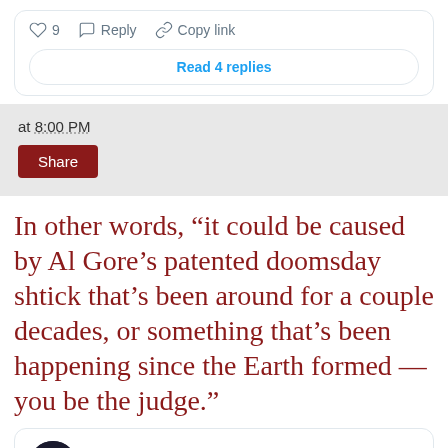[Figure (screenshot): Tweet action bar with heart icon showing 9 likes, Reply button, Copy link button, and Read 4 replies button]
at 8:00 PM
Share
In other words, “it could be caused by Al Gore’s patented doomsday shtick that’s been around for a couple decades, or something that’s been happening since the Earth formed — you be the judge.”
Al Gore @algore · Follow